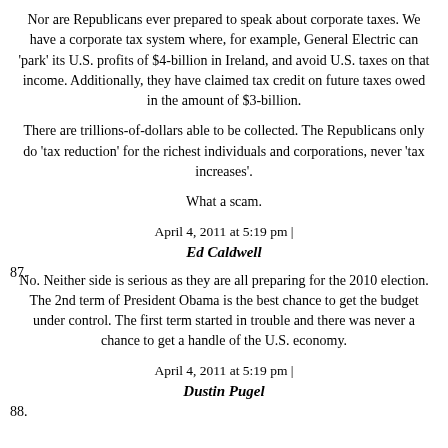Nor are Republicans ever prepared to speak about corporate taxes. We have a corporate tax system where, for example, General Electric can 'park' its U.S. profits of $4-billion in Ireland, and avoid U.S. taxes on that income. Additionally, they have claimed tax credit on future taxes owed in the amount of $3-billion.
There are trillions-of-dollars able to be collected. The Republicans only do 'tax reduction' for the richest individuals and corporations, never 'tax increases'.
What a scam.
April 4, 2011 at 5:19 pm |
87. Ed Caldwell
No. Neither side is serious as they are all preparing for the 2010 election. The 2nd term of President Obama is the best chance to get the budget under control. The first term started in trouble and there was never a chance to get a handle of the U.S. economy.
April 4, 2011 at 5:19 pm |
88. Dustin Pugel